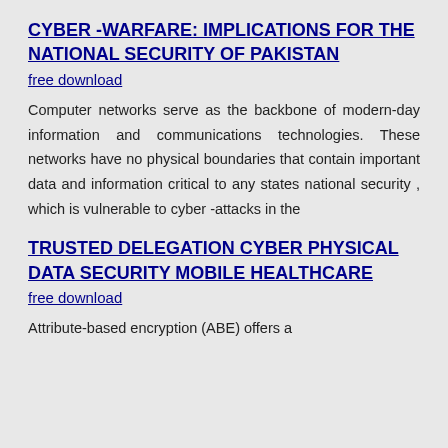CYBER -WARFARE: IMPLICATIONS FOR THE NATIONAL SECURITY OF PAKISTAN
free download
Computer networks serve as the backbone of modern-day information and communications technologies. These networks have no physical boundaries that contain important data and information critical to any states national security , which is vulnerable to cyber -attacks in the
TRUSTED DELEGATION CYBER PHYSICAL DATA SECURITY MOBILE HEALTHCARE
free download
Attribute-based encryption (ABE) offers a